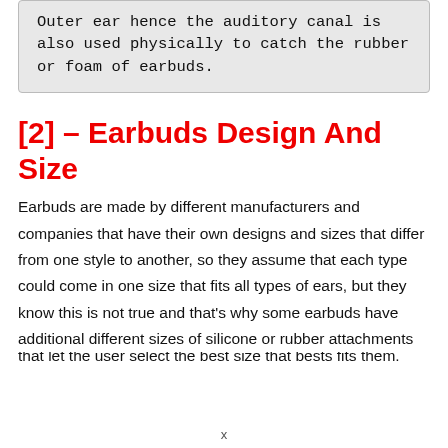Outer ear hence the auditory canal is also used physically to catch the rubber or foam of earbuds.
[2] – Earbuds Design And Size
Earbuds are made by different manufacturers and companies that have their own designs and sizes that differ from one style to another, so they assume that each type could come in one size that fits all types of ears, but they know this is not true and that's why some earbuds have additional different sizes of silicone or rubber attachments that let the user select the best size that bests fits them.
x